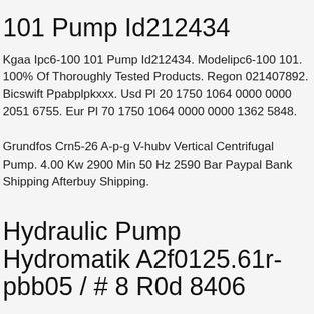101 Pump Id212434
Kgaa Ipc6-100 101 Pump Id212434. Modelipc6-100 101. 100% Of Thoroughly Tested Products. Regon 021407892. Bicswift Ppabplpkxxx. Usd Pl 20 1750 1064 0000 0000 2051 6755. Eur Pl 70 1750 1064 0000 0000 1362 5848.
Grundfos Crn5-26 A-p-g V-hubv Vertical Centrifugal Pump. 4.00 Kw 2900 Min 50 Hz 2590 Bar Paypal Bank Shipping Afterbuy Shipping.
Hydraulic Pump Hydromatik A2f0125.61r-pbb05 / # 8 R0d 8406
Stryker Endoscopy Flocontrol Arthroscopy Pump Model 200. We Send Everywhere In The World. Only What Is.